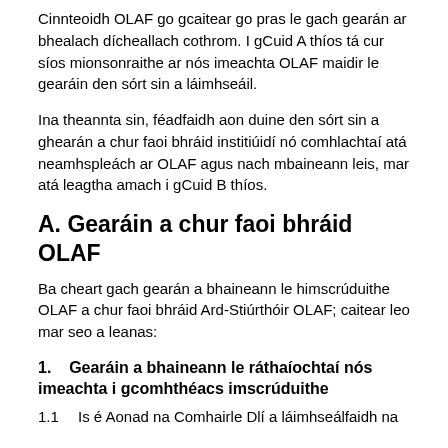Cinnteoidh OLAF go gcaitear go pras le gach gearán ar bhealach dícheallach cothrom. I gCuid A thíos tá cur síos mionsonraithe ar nós imeachta OLAF maidir le gearáin den sórt sin a láimhseáil.
Ina theannta sin, féadfaidh aon duine den sórt sin a ghearán a chur faoi bhráid institiúidí nó comhlachtaí atá neamhspleách ar OLAF agus nach mbaineann leis, mar atá leagtha amach i gCuid B thíos.
A. Gearáin a chur faoi bhráid OLAF
Ba cheart gach gearán a bhaineann le himscrúduithe OLAF a chur faoi bhráid Ard-Stiúrthóir OLAF; caitear leo mar seo a leanas:
1.    Gearáin a bhaineann le ráthaíochtaí nós imeachta i gcomhthéacs imscrúduithe
1.1    Is é Aonad na Comhairle Dlí a láimhseálfaidh na